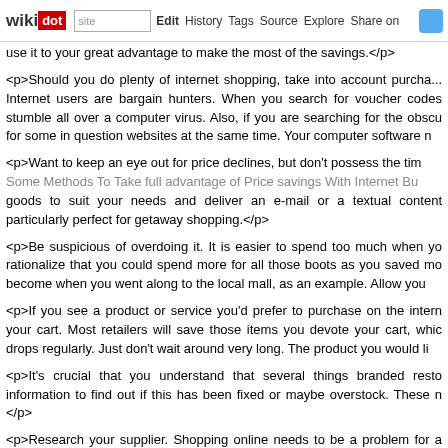wikidot | site | Edit | History | Tags | Source | Explore | Share on
use it to your great advantage to make the most of the savings.</p>
<p>Should you do plenty of internet shopping, take into account purcha... Internet users are bargain hunters. When you search for voucher codes stumble all over a computer virus. Also, if you are searching for the obscu for some in question websites at the same time. Your computer software n
<p>Want to keep an eye out for price declines, but don't possess the tim Some Methods To Take full advantage of Price savings With Internet Bu goods to suit your needs and deliver an e-mail or a textual content particularly perfect for getaway shopping.</p>
<p>Be suspicious of overdoing it. It is easier to spend too much when yo rationalize that you could spend more for all those boots as you saved mo become when you went along to the local mall, as an example. Allow you
<p>If you see a product or service you'd prefer to purchase on the intern your cart. Most retailers will save those items you devote your cart, whic drops regularly. Just don't wait around very long. The product you would li
<p>It's crucial that you understand that several things branded resto information to find out if this has been fixed or maybe overstock. These n </p>
<p>Research your supplier. Shopping online needs to be a problem for a identiity purchasing with. Does the owner have credible testimonials? Are or good quality of goods? Most people only look into the merchandise no identiity getting from at the same time.</p>